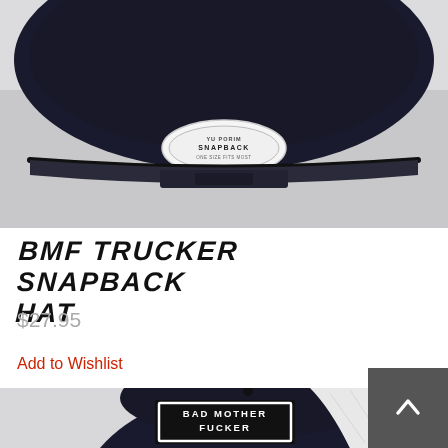[Figure (photo): Close-up top view of a black snapback trucker hat with a white oval Snapback label on the back strap, photographed against a light grey/white background.]
BMF TRUCKER SNAPBACK HAT
$27.95
Add to Wishlist
[Figure (photo): Side view of a black and white trucker snapback hat with a rectangular patch reading 'BAD MOTHER FUCKER' on the front panel, white mesh back, photographed against a light background.]